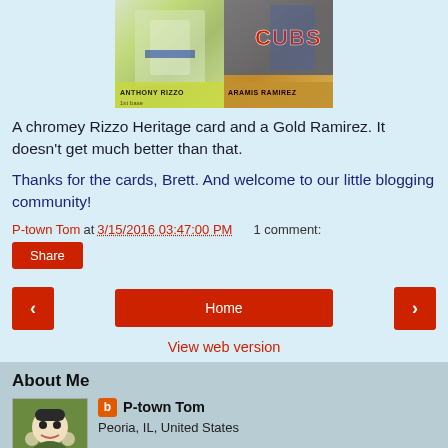[Figure (photo): Two baseball cards side by side: Anthony Rizzo chromey Heritage card (left) and Aramis Ramirez Gold card with Cubs logo (right)]
A chromey Rizzo Heritage card and a Gold Ramirez.  It doesn't get much better than that.
Thanks for the cards, Brett.  And welcome to our little blogging community!
P-town Tom at 3/15/2016 03:47:00 PM    1 comment:
Share
Home
View web version
About Me
P-town Tom
Peoria, IL, United States